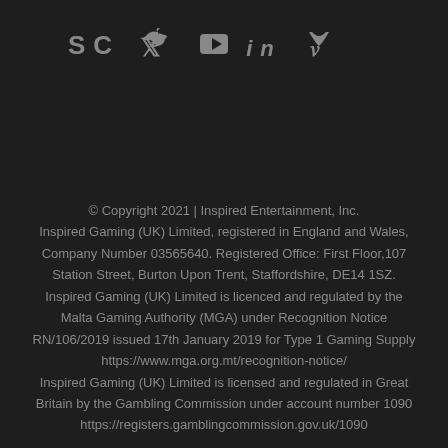[Figure (other): Social media icons row: SC, Twitter bird, YouTube play button, LinkedIn in, Vimeo V]
© Copyright 2021 | Inspired Entertainment, Inc.
Inspired Gaming (UK) Limited, registered in England and Wales, Company Number 03565640. Registered Office: First Floor,107 Station Street, Burton Upon Trent, Staffordshire, DE14 1SZ.
Inspired Gaming (UK) Limited is licenced and regulated by the Malta Gaming Authority (MGA) under Recognition Notice RN/106/2019 issued 17th January 2019 for Type 1 Gaming Supply https://www.mga.org.mt/recognition-notice/
Inspired Gaming (UK) Limited is licensed and regulated in Great Britain by the Gambling Commission under account number 1090 https://registers.gamblingcommission.gov.uk/1090